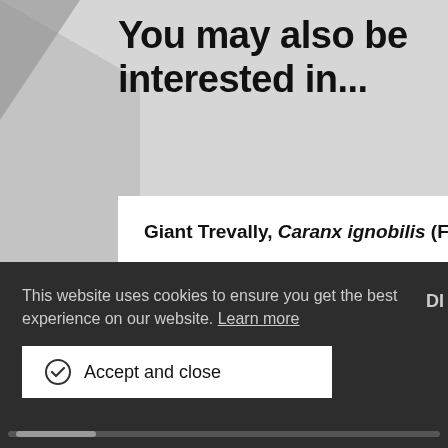You may also be interested in...
Giant Trevally, Caranx ignobilis (Forsskål, 1775)
Giant Trevally, Caranx ignobilis (Forsskål, 1775)
This website uses cookies to ensure you get the best experience on our website. Learn more
Accept and close